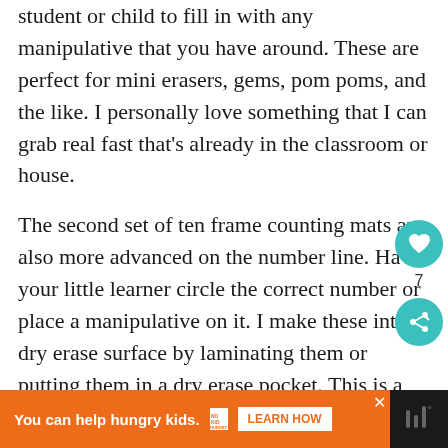student or child to fill in with any manipulative that you have around. These are perfect for mini erasers, gems, pom poms, and the like. I personally love something that I can grab real fast that's already in the classroom or house.
The second set of ten frame counting mats are also more advanced on the number line. Have your little learner circle the correct number or place a manipulative on it. I make these into a dry erase surface by laminating them or putting them in a dry erase pocket. This is a number sense tool that will help get
[Figure (other): Social interaction buttons: teal heart icon with count 7, and teal share icon]
[Figure (other): Advertisement banner: orange background with 'You can help hungry kids.' text, No Kid Hungry logo, and LEARN HOW button]